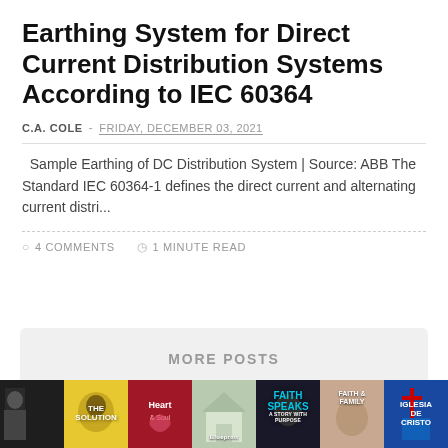Earthing System for Direct Current Distribution Systems According to IEC 60364
C.A. COLE  -  FRIDAY, DECEMBER 03, 2021
Sample Earthing of DC Distribution System | Source: ABB The Standard IEC 60364-1 defines the direct current and alternating current distri...
○ 4 COMMENTS   ◷ 1 MINUTE READ
MORE POSTS
[Figure (photo): A horizontal strip of TV show/channel thumbnail images at the bottom of the page, including 'The Solution', 'Heart & Soul', 'Faith Speaks', 'Faith & Family', 'Iglesia de Cristo', and a Blueprint show.]